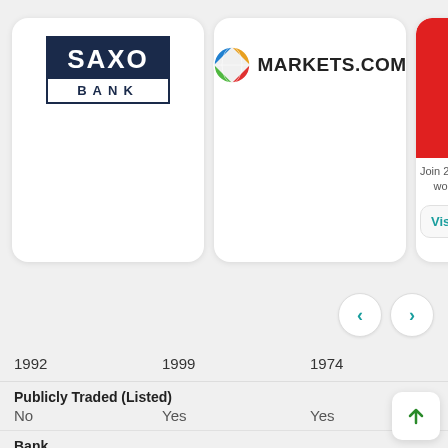[Figure (logo): Saxo Bank logo — dark navy rectangle with SAXO in white bold text on top, BANK in navy spaced letters on white below]
[Figure (logo): Markets.com logo — colorful globe icon followed by MARKETS.COM in bold black text]
[Figure (logo): Partial third broker card showing red background with white bar, text 'Join 239, wor' and a 'Vis' button]
1992
1999
1974
Publicly Traded (Listed)
No
Yes
Yes
Bank
Yes
No
Yes
Authorised in European Union
Yes
Yes
Yes